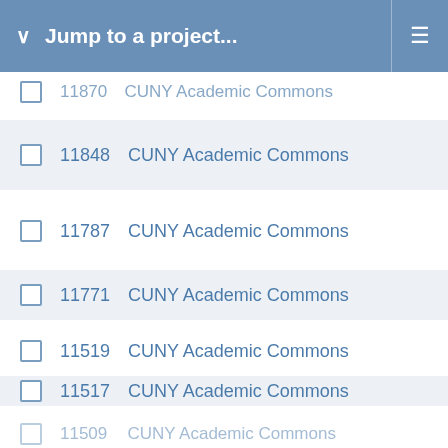Jump to a project...
11870  CUNY Academic Commons
11848  CUNY Academic Commons
11787  CUNY Academic Commons
11771  CUNY Academic Commons
11519  CUNY Academic Commons
11517  CUNY Academic Commons
11509  CUNY Academic Commons
11302  CUNY Academic Commons